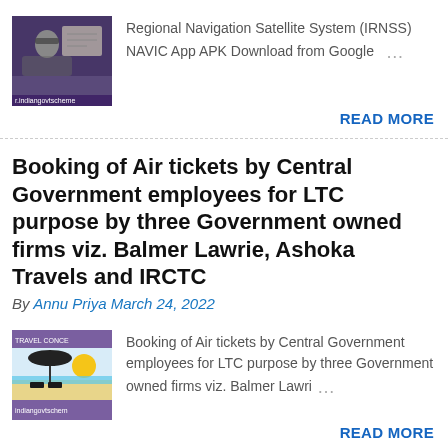[Figure (photo): Thumbnail image with purple/dark background and indiangovtscheme label, showing a person with glasses]
Regional Navigation Satellite System (IRNSS) NAVIC App APK Download from Google …
READ MORE
Booking of Air tickets by Central Government employees for LTC purpose by three Government owned firms viz. Balmer Lawrie, Ashoka Travels and IRCTC
By Annu Priya March 24, 2022
[Figure (photo): Travel concept thumbnail image showing beach chairs and umbrella with sun, indiangovtscheme label at bottom]
Booking of Air tickets by Central Government employees for LTC purpose by three Government owned firms viz. Balmer Lawri …
READ MORE
Mera Ration Mera Adhikar